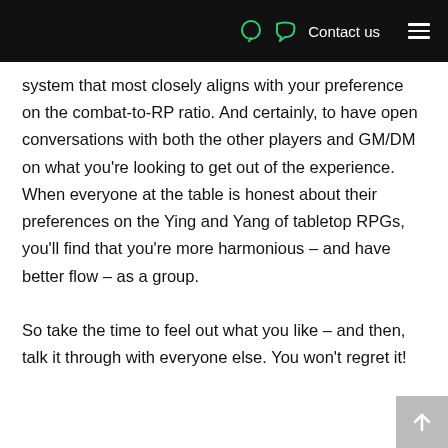Contact us
system that most closely aligns with your preference on the combat-to-RP ratio. And certainly, to have open conversations with both the other players and GM/DM on what you're looking to get out of the experience. When everyone at the table is honest about their preferences on the Ying and Yang of tabletop RPGs, you'll find that you're more harmonious – and have better flow – as a group.

So take the time to feel out what you like – and then, talk it through with everyone else. You won't regret it!